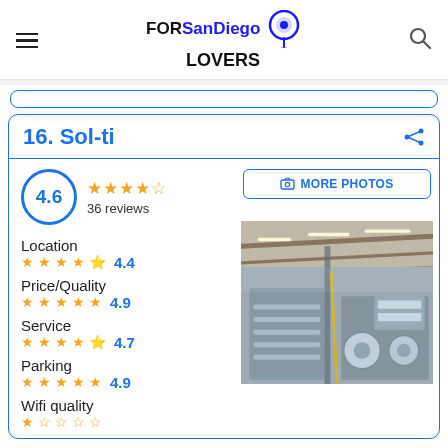FORSanDiego LOVERS
16. Sol-ti
4.6  36 reviews
Location 4.4
Price/Quality 4.9
Service 4.7
Parking 4.9
Wifi quality
[Figure (photo): Interior of Sol-ti manufacturing/bottling facility with industrial equipment, conveyor systems, and high ceilings with exposed beams and lighting.]